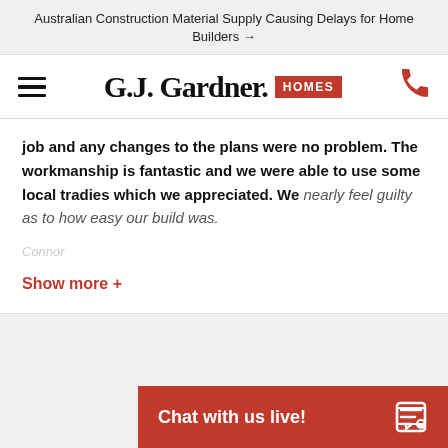Australian Construction Material Supply Causing Delays for Home Builders →
[Figure (logo): G.J. Gardner Homes logo with hamburger menu icon on left and phone icon on right]
job and any changes to the plans were no problem. The workmanship is fantastic and we were able to use some local tradies which we appreciated. We nearly feel guilty as to how easy our build was.
Show more +